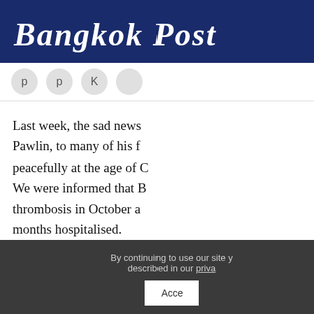[Figure (logo): Bangkok Post newspaper logo in white text on dark navy blue background banner]
Last week, the sad news Pawlin, to many of his f peacefully at the age of C We were informed that B thrombosis in October a months hospitalised.
By continuing to use our site y described in our priva
COMMENT
Comments will be moderated at 06 Multiple duplicate comments, imm threatening, libelous, anything rela self-advertising, or racist comment policies, please view www.bangkol 1.1.1).
VIEW MORE CO
Please sign in for an account thoughts to th